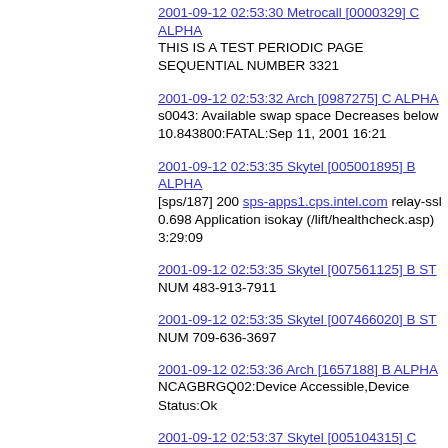2001-09-12 02:53:30 Metrocall [0000329] C ALPHA
THIS IS A TEST PERIODIC PAGE SEQUENTIAL NUMBER 3321
2001-09-12 02:53:32 Arch [0987275] C ALPHA
s0043: Available swap space Decreases below 10.843800:FATAL:Sep 11, 2001 16:21
2001-09-12 02:53:35 Skytel [005001895] B ALPHA
[sps/187] 200 sps-apps1.cps.intel.com relay-ssl 0.698 Application isokay (/lift/healthcheck.asp) 3:29:09
2001-09-12 02:53:35 Skytel [007561125] B ST
NUM 483-913-7911
2001-09-12 02:53:35 Skytel [007466020] B ST
NUM 709-636-3697
2001-09-12 02:53:36 Arch [1657188] B ALPHA
NCAGBRGQ02:Device Accessible,Device Status:Ok
2001-09-12 02:53:37 Skytel [005104315] C ALPHA
Jose, critical interlock on imp13101. I was